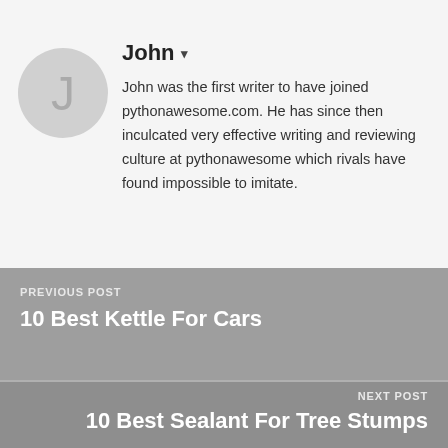John ▾
John was the first writer to have joined pythonawesome.com. He has since then inculcated very effective writing and reviewing culture at pythonawesome which rivals have found impossible to imitate.
PREVIOUS POST
10 Best Kettle For Cars
NEXT POST
10 Best Sealant For Tree Stumps